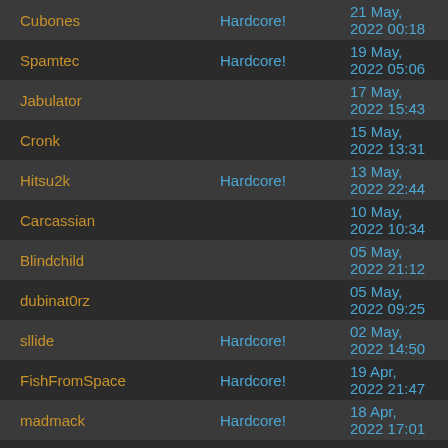| Name | Mode | Date |
| --- | --- | --- |
| Cubones | Hardcore! | 21 May, 2022 00:18 |
| Spamtec | Hardcore! | 19 May, 2022 05:06 |
| Jabulator |  | 17 May, 2022 15:43 |
| Cronk |  | 15 May, 2022 13:31 |
| Hitsu2k | Hardcore! | 13 May, 2022 22:44 |
| Carcassian |  | 10 May, 2022 10:34 |
| Blindchild |  | 05 May, 2022 21:12 |
| dubinat0rz |  | 05 May, 2022 09:25 |
| sllide | Hardcore! | 02 May, 2022 14:50 |
| FishFromSpace | Hardcore! | 19 Apr, 2022 21:47 |
| madmack | Hardcore! | 18 Apr, 2022 17:01 |